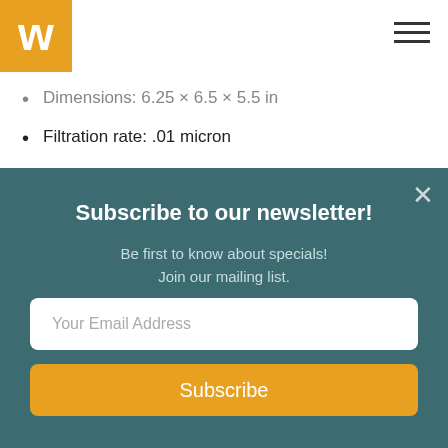[Figure (logo): Yellow/gold square with white W letter logo]
[Figure (other): Hamburger menu icon (three horizontal lines)]
Dimensions: 6.25 × 6.5 × 5.5 in
Filtration rate: .01 micron
Max. Supply Pressure: 125 psi
Maintenance: replaceable cartridge after extended use
Subscribe to our newsletter!
Be first to know about specials!
Join our mailing list.
Your Email Address
Subscribe